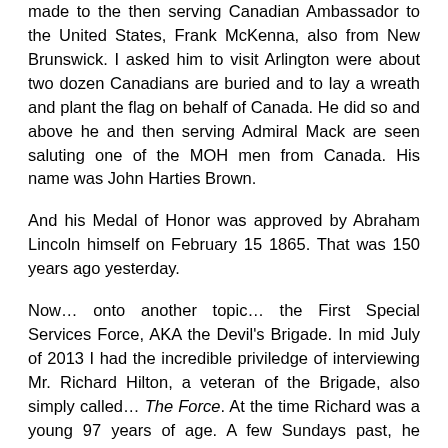made to the then serving Canadian Ambassador to the United States, Frank McKenna, also from New Brunswick. I asked him to visit Arlington were about two dozen Canadians are buried and to lay a wreath and plant the flag on behalf of Canada. He did so and above he and then serving Admiral Mack are seen saluting one of the MOH men from Canada. His name was John Harties Brown.
And his Medal of Honor was approved by Abraham Lincoln himself on February 15 1865. That was 150 years ago yesterday.
Now… onto another topic… the First Special Services Force, AKA the Devil's Brigade. In mid July of 2013 I had the incredible priviledge of interviewing Mr. Richard Hilton, a veteran of the Brigade, also simply called… The Force. At the time Richard was a young 97 years of age. A few Sundays past, he turned 99. And on the following day, I again had the priviledge of chatting with this hero.